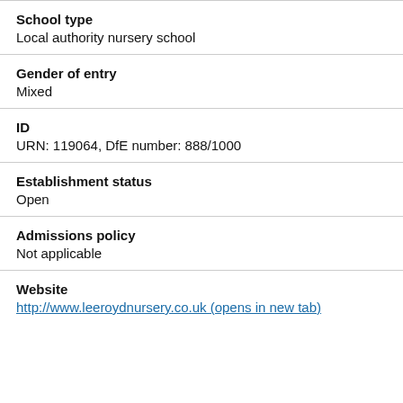School type
Local authority nursery school
Gender of entry
Mixed
ID
URN: 119064, DfE number: 888/1000
Establishment status
Open
Admissions policy
Not applicable
Website
http://www.leeroydnursery.co.uk (opens in new tab)